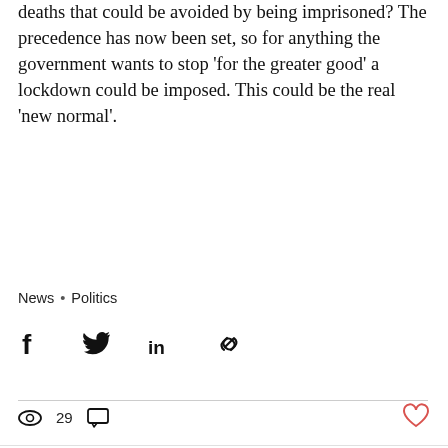deaths that could be avoided by being imprisoned?  The precedence has now been set, so for anything the government wants to stop 'for the greater good' a lockdown could be imposed.   This could be the real 'new normal'.
News · Politics
[Figure (other): Social share icons: Facebook, Twitter, LinkedIn, Link/copy]
👁 29  💬 (comment icon)  ♡ (heart/like icon)
We use cookies on our website to see how you interact with it. By accepting, you agree to our use of such cookies. Privacy Policy
Settings  |  Accept